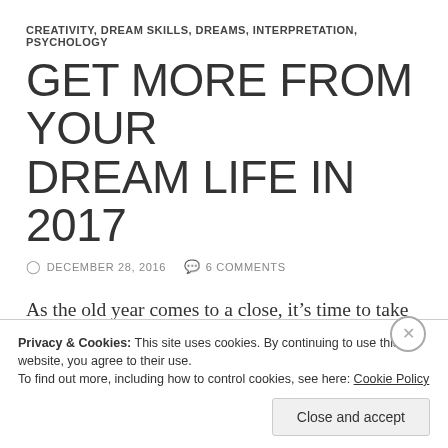CREATIVITY, DREAM SKILLS, DREAMS, INTERPRETATION, PSYCHOLOGY
GET MORE FROM YOUR DREAM LIFE IN 2017
DECEMBER 28, 2016   6 COMMENTS
As the old year comes to a close, it’s time to take stock and think about what you’d like the new one to bring. Intention is a powerful magnetic force, and focusing on what you want greatly increases your chances of achieving it.
Privacy & Cookies: This site uses cookies. By continuing to use this website, you agree to their use.
To find out more, including how to control cookies, see here: Cookie Policy